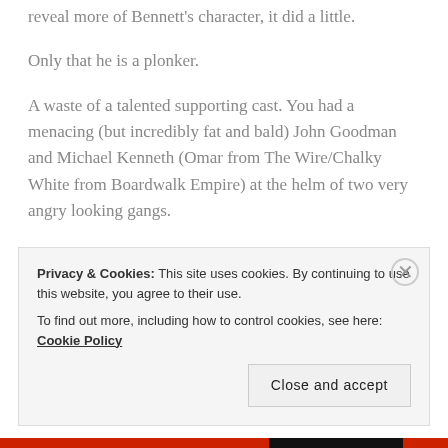reveal more of Bennett's character, it did a little.
Only that he is a plonker.
A waste of a talented supporting cast. You had a menacing (but incredibly fat and bald) John Goodman and Michael Kenneth (Omar from The Wire/Chalky White from Boardwalk Empire) at the helm of two very angry looking gangs.
All that supposedly cryptic, suspenseful and threatening dialogue leading to . . .
More talking and more pointless meetings.
Privacy & Cookies: This site uses cookies. By continuing to use this website, you agree to their use.
To find out more, including how to control cookies, see here: Cookie Policy